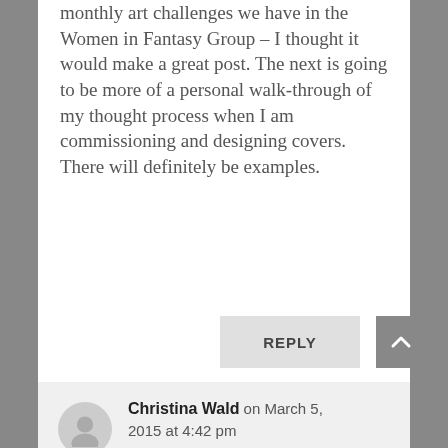monthly art challenges we have in the Women in Fantasy Group – I thought it would make a great post. The next is going to be more of a personal walk-through of my thought process when I am commissioning and designing covers. There will definitely be examples.
REPLY
Christina Wald on March 5, 2015 at 4:42 pm
Excellent write up!